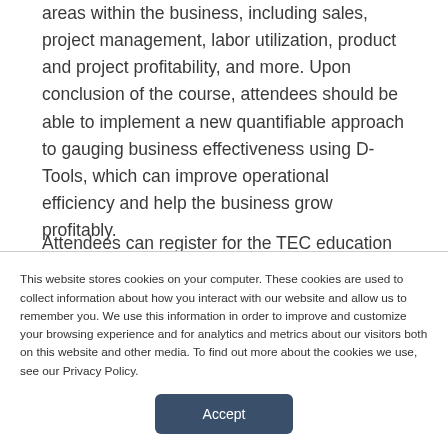areas within the business, including sales, project management, labor utilization, product and project profitability, and more. Upon conclusion of the course, attendees should be able to implement a new quantifiable approach to gauging business effectiveness using D-Tools, which can improve operational efficiency and help the business grow profitably.
Attendees can register for the TEC education
This website stores cookies on your computer. These cookies are used to collect information about how you interact with our website and allow us to remember you. We use this information in order to improve and customize your browsing experience and for analytics and metrics about our visitors both on this website and other media. To find out more about the cookies we use, see our Privacy Policy.